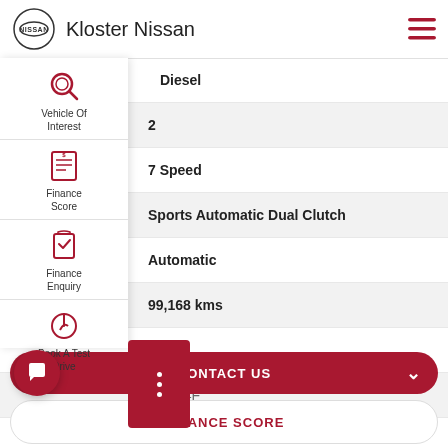Kloster Nissan
| Attribute | Value |
| --- | --- |
| Fuel Type | Diesel |
| ty | 2 |
|  | 7 Speed |
| ox | Sports Automatic Dual Clutch |
| ission | Automatic |
| eter | 99,168 kms |
|  | FWD |
|  | EBB34F |
[Figure (screenshot): Side navigation overlay with Vehicle Of Interest, Finance Score, Finance Enquiry, and Book A Test Drive icons]
CONTACT US
FINANCE SCORE